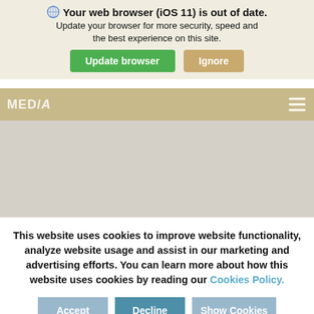Your web browser (iOS 11) is out of date. Update your browser for more security, speed and the best experience on this site.
[Figure (screenshot): Browser update notification bar with globe icon, bold title 'Your web browser (iOS 11) is out of date.', subtitle text, and two buttons: 'Update browser' (green) and 'Ignore' (tan/gold)]
[Figure (screenshot): Navigation bar with MED/A logo text on tan/gold background and hamburger menu icon on the right]
[Figure (screenshot): Gray content area placeholder]
This website uses cookies to improve website functionality, analyze website usage and assist in our marketing and advertising efforts. You can learn more about how this website uses cookies by reading our Cookies Policy.
[Figure (screenshot): Cookie consent banner with three buttons: Accept, Decline, Show Cookies (all in muted blue tones)]